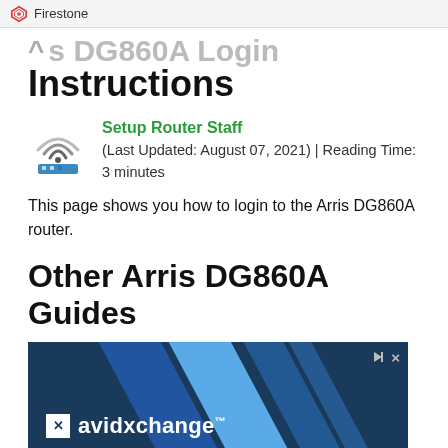Firestone
Arris DG860A Login Instructions
Setup Router Staff
(Last Updated: August 07, 2021) | Reading Time: 3 minutes
This page shows you how to login to the Arris DG860A router.
Other Arris DG860A Guides
[Figure (screenshot): Advertisement banner for avidxchange with dark blue background and diagonal stripe design]